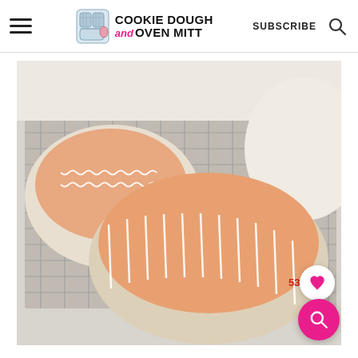Cookie Dough and Oven Mitt — SUBSCRIBE
[Figure (photo): Frosted sugar cookies with orange/peach icing and white drizzle lines on a wire cooling rack. A heart save button (537 saves) and a pink magnify button are overlaid in the bottom right corner.]